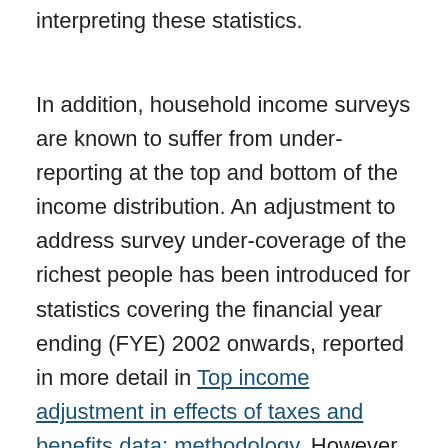interpreting these statistics.
In addition, household income surveys are known to suffer from under-reporting at the top and bottom of the income distribution. An adjustment to address survey under-coverage of the richest people has been introduced for statistics covering the financial year ending (FYE) 2002 onwards, reported in more detail in Top income adjustment in effects of taxes and benefits data: methodology. However, measurement issues at the bottom remain. See the Effects of taxes and benefits on household income QMI for further details of the sources of error.